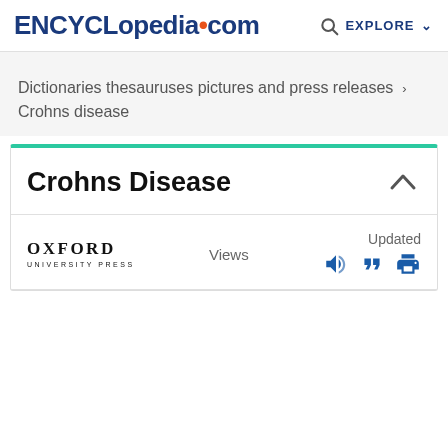ENCYCLopedia·com  EXPLORE
Dictionaries thesauruses pictures and press releases  ›
Crohns disease
Crohns Disease
[Figure (logo): Oxford University Press logo]
Views
Updated